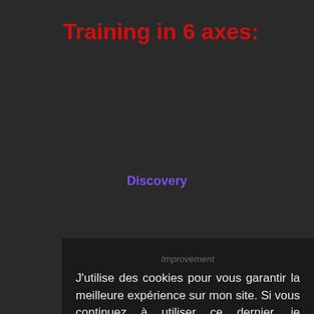Training in 6 axes:
Discovery
Improvement
J'utilise des cookies pour vous garantir la meilleure expérience sur mon site. Si vous continuez à utiliser ce dernier, je considère que vous acceptez l'utilisation des cookies.
En savoir plus
Rejeter tout
J'accepte